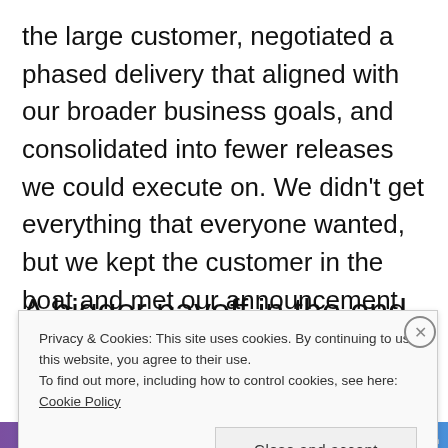the large customer, negotiated a phased delivery that aligned with our broader business goals, and consolidated into fewer releases we could execute on. We didn't get everything that everyone wanted, but we kept the customer in the boat and met our announcement commitments. We managed the impact proactively.
A bigger payoff in the end
Privacy & Cookies: This site uses cookies. By continuing to use this website, you agree to their use.
To find out more, including how to control cookies, see here: Cookie Policy
Close and accept